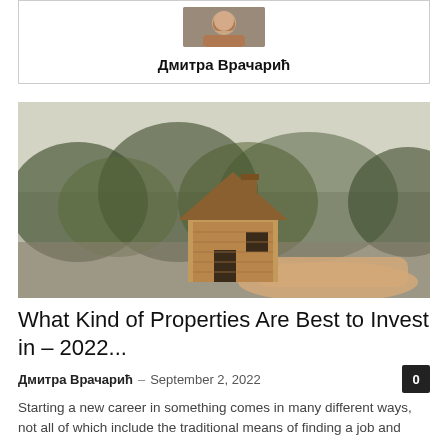[Figure (photo): Author photo thumbnail of a person]
Дмитра Врачарић
[Figure (photo): Photo of a hand holding a small wooden toy house model with blurred green trees in the background]
What Kind of Properties Are Best to Invest in – 2022...
Дмитра Врачарић – September 2, 2022
Starting a new career in something comes in many different ways, not all of which include the traditional means of finding a job and